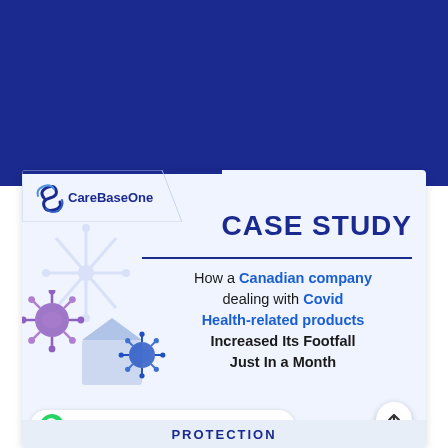[Figure (infographic): Dark blue background banner at the top of the page]
[Figure (infographic): CareBaseOne case study card. Features the CareBaseOne logo top-left, a bold 'CASE STUDY' heading on the right, a blue horizontal divider, headline text reading 'How a Canadian company dealing with Covid Health-related products Increased Its Footfall Just In a Month', a virus/COVID illustration bottom-left, a WhatsApp chat bubble at the bottom, and a 'PROTECTION' label at the very bottom edge.]